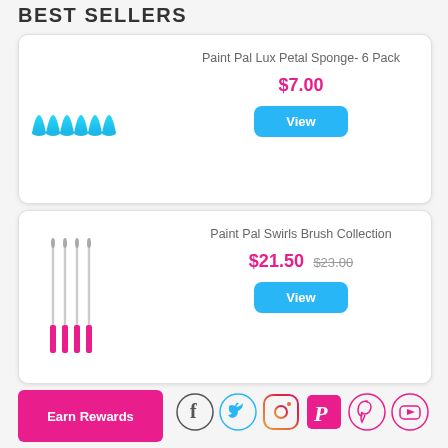BEST SELLERS
Paint Pal Lux Petal Sponge- 6 Pack
$7.00
[Figure (photo): Blue petal sponges, 6 triangular blue sponges in a row]
View
Paint Pal Swirls Brush Collection
$21.50 $23.00
[Figure (photo): Pink-handled art brushes, 4 thin brushes with pink handles]
View
Earn Rewards
[Figure (logo): Social media icons: Facebook, Twitter, Instagram, PaintPal, Pinterest, YouTube]